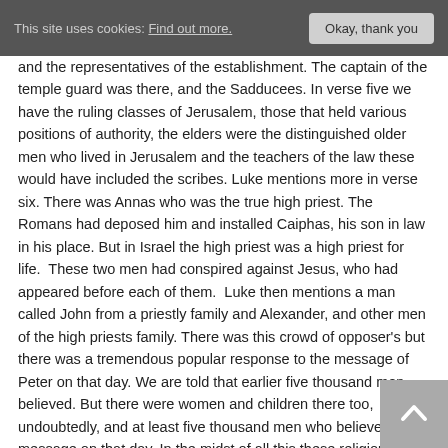This site uses cookies: Find out more.  Okay, thank you
and the representatives of the establishment. The captain of the temple guard was there, and the Sadducees. In verse five we have the ruling classes of Jerusalem, those that held various positions of authority, the elders were the distinguished older men who lived in Jerusalem and the teachers of the law these would have included the scribes. Luke mentions more in verse six. There was Annas who was the true high priest. The Romans had deposed him and installed Caiphas, his son in law in his place. But in Israel the high priest was a high priest for life.  These two men had conspired against Jesus, who had appeared before each of them.  Luke then mentions a man called John from a priestly family and Alexander, and other men of the high priests family. There was this crowd of opposer's but there was a tremendous popular response to the message of Peter on that day. We are told that earlier five thousand men believed. But there were women and children there too, undoubtedly, and at least five thousand men who believed the message on that day. In the midst of all this these religious rulers and those in authority suddenly come against the disciples with the temple guard. They